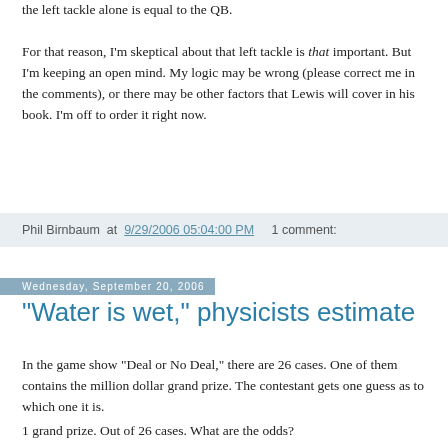the left tackle alone is equal to the QB. For that reason, I'm skeptical about that left tackle is that important. But I'm keeping an open mind. My logic may be wrong (please correct me in the comments), or there may be other factors that Lewis will cover in his book. I'm off to order it right now.
Phil Birnbaum at 9/29/2006 05:04:00 PM   1 comment:
Wednesday, September 20, 2006
"Water is wet," physicists estimate
In the game show “Deal or No Deal,” there are 26 cases. One of them contains the million dollar grand prize. The contestant gets one guess as to which one it is.
1 grand prize. Out of 26 cases. What are the odds?